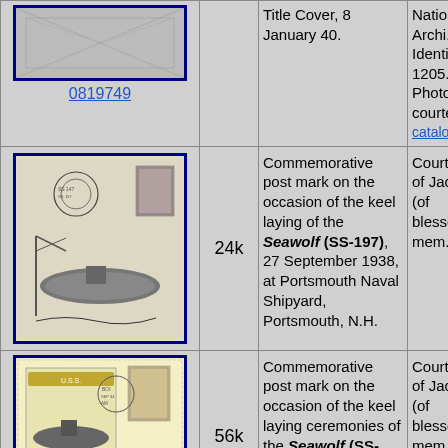[Figure (photo): Partial view of top row: philatelic cover image (cropped) with link 0819749 below it]
0819749
Title Cover, 8 January 40.
National Archives Identifier: 1205... Photo courtesy catalog.archives...
[Figure (photo): Commemorative postal cover with blue border, cancel stamps, submarine illustration, and signature, related to keel laying of Seawolf (SS-197)]
24k
Commemorative post mark on the occasion of the keel laying of the Seawolf (SS-197), 27 September 1938, at Portsmouth Naval Shipyard, Portsmouth, N.H.
Courtesy of Jac... (of blessed mem...
[Figure (photo): Commemorative postal cover with blue border, yellow/cream background, submarine emblem, stamps, related to keel laying ceremonies of Seawolf (SS-197)]
56k
Commemorative post mark on the occasion of the keel laying ceremonies of the Seawolf (SS-197), 27 October 1938, at...
Courtesy of Jac... (of blessed mem...